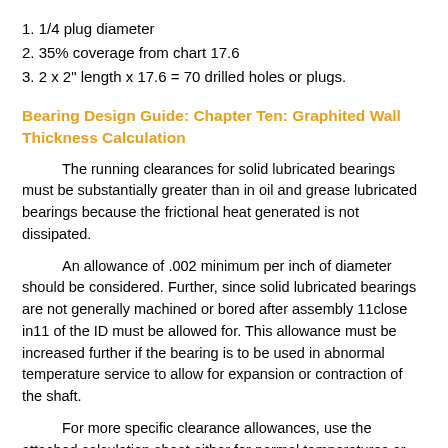1. 1/4 plug diameter
2. 35% coverage from chart 17.6
3. 2 x 2" length x 17.6 = 70 drilled holes or plugs.
Bearing Design Guide: Chapter Ten: Graphited Wall Thickness Calculation
The running clearances for solid lubricated bearings must be substantially greater than in oil and grease lubricated bearings because the frictional heat generated is not dissipated.
An allowance of .002 minimum per inch of diameter should be considered. Further, since solid lubricated bearings are not generally machined or bored after assembly 11close in11 of the ID must be allowed for. This allowance must be increased further if the bearing is to be used in abnormal temperature service to allow for expansion or contraction of the shaft.
For more specific clearance allowances, use the attached calculation sheet either for normal temperatures or for abnormal temperatures.